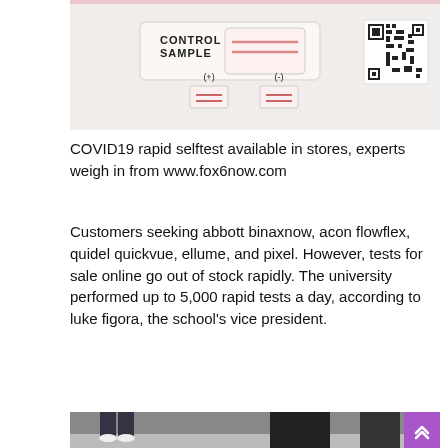[Figure (photo): COVID-19 rapid self-test card showing CONTROL and SAMPLE windows with (+) and (-) indicator icons and a QR code on the right side.]
COVID19 rapid selftest available in stores, experts weigh in from www.fox6now.com
Customers seeking abbott binaxnow, acon flowflex, quidel quickvue, ellume, and pixel. However, tests for sale online go out of stock rapidly. The university performed up to 5,000 rapid tests a day, according to luke figora, the school’s vice president.
[Figure (photo): People walking outdoors, legs and lower bodies visible, one person in dark hoodie, with a purple scroll-to-top button in the bottom right corner.]